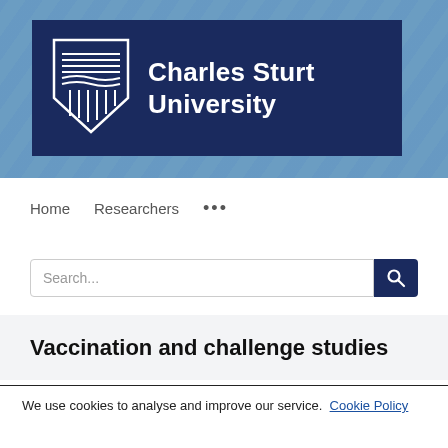[Figure (logo): Charles Sturt University logo and banner with diagonal stripe pattern on blue background, dark navy rectangle containing shield crest and university name in white]
Home   Researchers   ...
Search...
Vaccination and challenge studies
We use cookies to analyse and improve our service. Cookie Policy